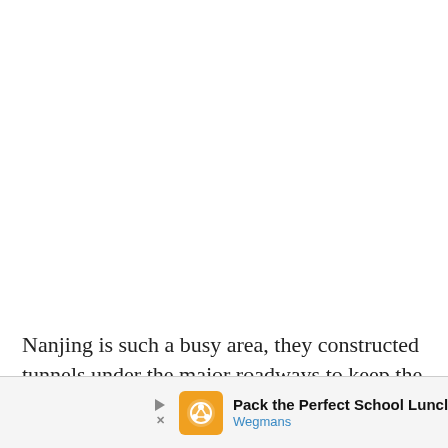Nanjing is such a busy area, they constructed tunnels under the major roadways to keep the flow of people and traffic moving along.
[Figure (other): Advertisement banner at the bottom of the page. Shows a Wegmans ad with orange logo, text 'Pack the Perfect School Lunch', 'Wegmans' in blue, and a blue arrow button. Play and X controls on the left.]